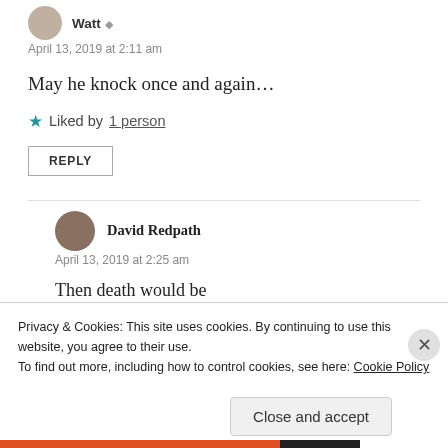Watt
April 13, 2019 at 2:11 am
May he knock once and again…
★ Liked by 1 person
REPLY
David Redpath
April 13, 2019 at 2:25 am
Then death would be
Privacy & Cookies: This site uses cookies. By continuing to use this website, you agree to their use. To find out more, including how to control cookies, see here: Cookie Policy
Close and accept